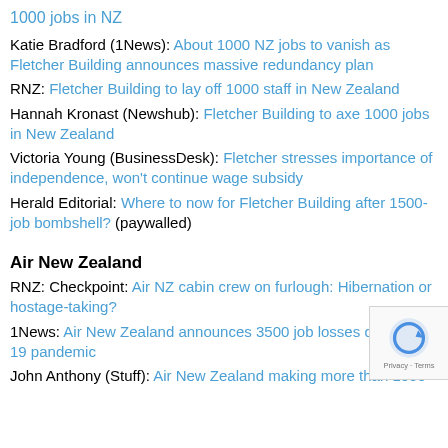1000 jobs in NZ
Katie Bradford (1News): About 1000 NZ jobs to vanish as Fletcher Building announces massive redundancy plan
RNZ: Fletcher Building to lay off 1000 staff in New Zealand
Hannah Kronast (Newshub): Fletcher Building to axe 1000 jobs in New Zealand
Victoria Young (BusinessDesk): Fletcher stresses importance of independence, won't continue wage subsidy
Herald Editorial: Where to now for Fletcher Building after 1500-job bombshell? (paywalled)
Air New Zealand
RNZ: Checkpoint: Air NZ cabin crew on furlough: Hibernation or hostage-taking?
1News: Air New Zealand announces 3500 job losses due Covid-19 pandemic
John Anthony (Stuff): Air New Zealand making more than 1000…